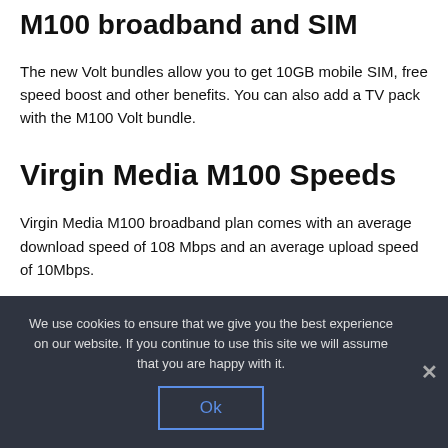M100 broadband and SIM
The new Volt bundles allow you to get 10GB mobile SIM, free speed boost and other benefits. You can also add a TV pack with the M100 Volt bundle.
Virgin Media M100 Speeds
Virgin Media M100 broadband plan comes with an average download speed of 108 Mbps and an average upload speed of 10Mbps.
We use cookies to ensure that we give you the best experience on our website. If you continue to use this site we will assume that you are happy with it.